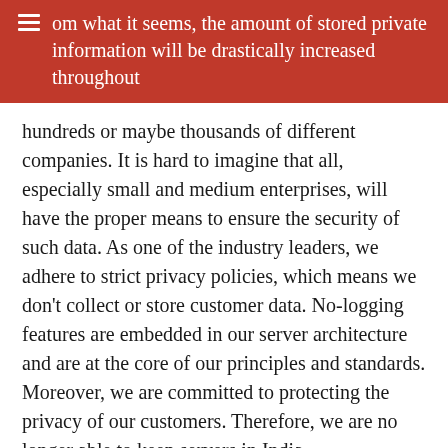om what it seems, the amount of stored private information will be drastically increased throughout hundreds or maybe thousands of different companies. It is hard to imagine that all, especially small and medium enterprises, will have the proper means to ensure the security of such data. As one of the industry leaders, we adhere to strict privacy policies, which means we don't collect or store customer data. No-logging features are embedded in our server architecture and are at the core of our principles and standards. Moreover, we are committed to protecting the privacy of our customers. Therefore, we are no longer able to keep servers in India.
General